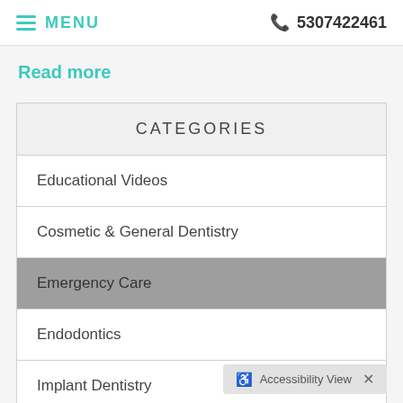≡ MENU   📞 5307422461
Read more
| CATEGORIES |
| --- |
| Educational Videos |
| Cosmetic & General Dentistry |
| Emergency Care |
| Endodontics |
| Implant Dentistry |
| Oral Health |
♿ Accessibility View  ×